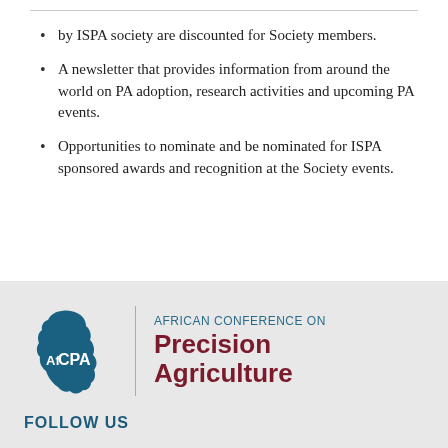by ISPA society are discounted for Society members.
A newsletter that provides information from around the world on PA adoption, research activities and upcoming PA events.
Opportunities to nominate and be nominated for ISPA sponsored awards and recognition at the Society events.
[Figure (logo): AfCPA - African Conference on Precision Agriculture logo with Africa continent shape in teal/dark blue and text]
FOLLOW US